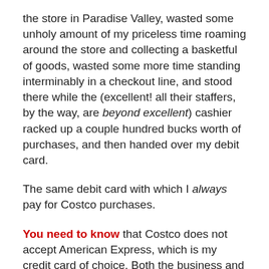the store in Paradise Valley, wasted some unholy amount of my priceless time roaming around the store and collecting a basketful of goods, wasted some more time standing interminably in a checkout line, and stood there while the (excellent! all their staffers, by the way, are beyond excellent) cashier racked up a couple hundred bucks worth of purchases, and then handed over my debit card.
The same debit card with which I always pay for Costco purchases.
You need to know that Costco does not accept American Express, which is my credit card of choice. Both the business and the personal charge accounts are with AMEX. When this charming decision came down, I acceded to signing up with their Visa or Mastercard (don't recall which, after all this time), and that devolved into a headache of Brobdinagian